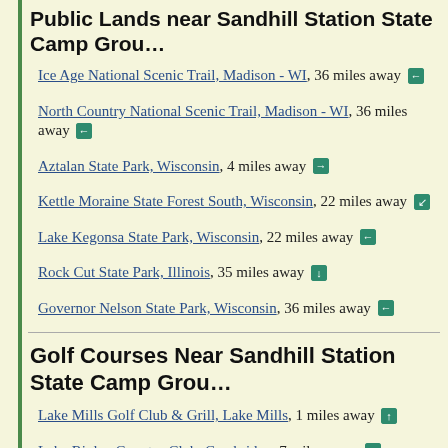Public Lands near Sandhill Station State Camp Grou...
Ice Age National Scenic Trail, Madison - WI, 36 miles away
North Country National Scenic Trail, Madison - WI, 36 miles away
Aztalan State Park, Wisconsin, 4 miles away
Kettle Moraine State Forest South, Wisconsin, 22 miles away
Lake Kegonsa State Park, Wisconsin, 22 miles away
Rock Cut State Park, Illinois, 35 miles away
Governor Nelson State Park, Wisconsin, 36 miles away
Golf Courses Near Sandhill Station State Camp Grou...
Lake Mills Golf Club & Grill, Lake Mills, 1 miles away
Lake Ripley Country Club, Cambridge, 7 miles away
Koshkonong Mounds Country Club, Fort Atkinson, 9 miles away